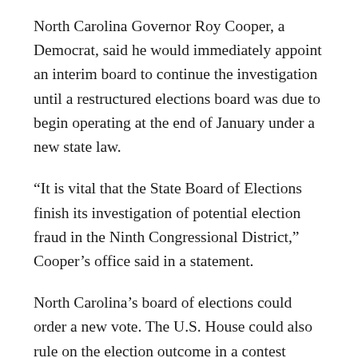North Carolina Governor Roy Cooper, a Democrat, said he would immediately appoint an interim board to continue the investigation until a restructured elections board was due to begin operating at the end of January under a new state law.
“It is vital that the State Board of Elections finish its investigation of potential election fraud in the Ninth Congressional District,” Cooper’s office said in a statement.
North Carolina’s board of elections could order a new vote. The U.S. House could also rule on the election outcome in a contest where Harris initially edged out Democrat Dan McCready by 905 votes.